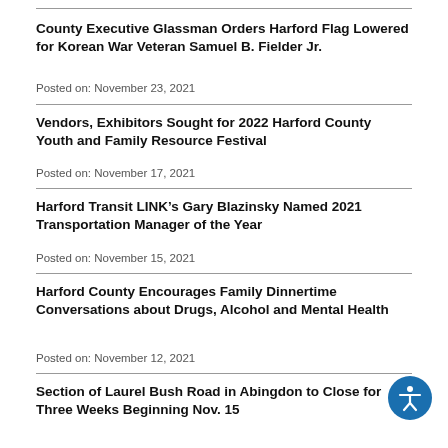County Executive Glassman Orders Harford Flag Lowered for Korean War Veteran Samuel B. Fielder Jr.
Posted on: November 23, 2021
Vendors, Exhibitors Sought for 2022 Harford County Youth and Family Resource Festival
Posted on: November 17, 2021
Harford Transit LINK’s Gary Blazinsky Named 2021 Transportation Manager of the Year
Posted on: November 15, 2021
Harford County Encourages Family Dinnertime Conversations about Drugs, Alcohol and Mental Health
Posted on: November 12, 2021
Section of Laurel Bush Road in Abingdon to Close for Three Weeks Beginning Nov. 15